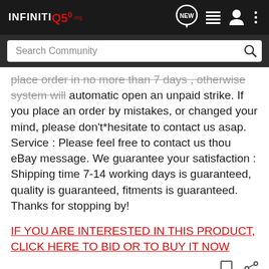[Figure (screenshot): InfinitiQ50.org forum website top navigation bar with logo, NEW chat bubble icon, list icon, user icon, and three-dot menu icon]
[Figure (screenshot): Search Community search bar with magnifying glass icon on dark background]
place order in no more than 7 days , otherwise system will automatic open an unpaid strike. If you place an order by mistakes, or changed your mind, please don't*hesitate to contact us asap. Service : Please feel free to contact us thou eBay message. We guarantee your satisfaction : Shipping time 7-14 working days is guaranteed, quality is guaranteed, fitments is guaranteed. Thanks for stopping by!
IF YOU ARE INTERESTED IN THIS PRODUCT, CLICK HERE TO BID OR TO BUY IT NOW
1 - 1 of 1 Posts